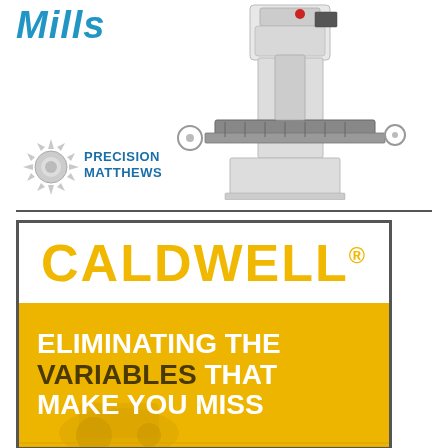Mills
[Figure (photo): Precision Matthews vertical milling machine, white cabinet with black table, shown at an angle]
[Figure (logo): Precision Matthews logo with gear/sunburst icon and company name in blue text]
[Figure (infographic): Caldwell advertisement with yellow brand name on white background top section, and yellow background bottom section with bold text: ELIMINATING THE VARIABLES THAT MAKE YOU MISS]